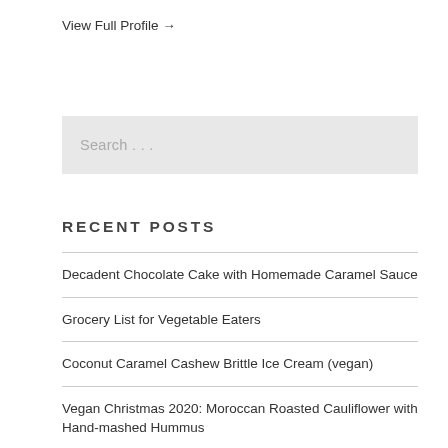View Full Profile →
[Figure (other): Search input box with placeholder text 'Search . . .']
RECENT POSTS
Decadent Chocolate Cake with Homemade Caramel Sauce
Grocery List for Vegetable Eaters
Coconut Caramel Cashew Brittle Ice Cream (vegan)
Vegan Christmas 2020: Moroccan Roasted Cauliflower with Hand-mashed Hummus